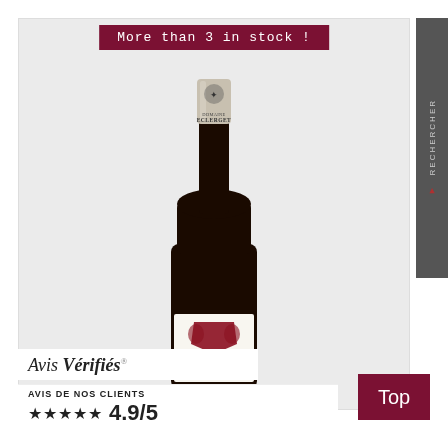[Figure (photo): Wine bottle from Domaine Clerget with silver capsule top and white label with coat of arms, photographed against light grey background]
More than 3 in stock !
[Figure (logo): Avis Vérifiés logo with italic text]
AVIS DE NOS CLIENTS ★★★★★ 4.9/5
RECHERCHER
Top